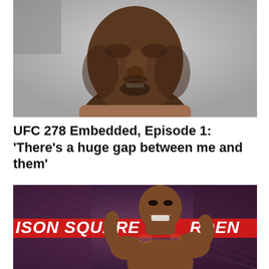[Figure (photo): Close-up photo of a Black male MMA fighter looking upward against a light gray background, showing face and neck/upper torso.]
UFC 278 Embedded, Episode 1: ‘There’s a huge gap between me and them’
[Figure (photo): Photo of Kamaru Usman (bald Black male MMA fighter) smiling inside the octagon cage at Madison Square Garden; signage reads 'ISON SQUARE RDEN' in red/white text; crowd visible in background.]